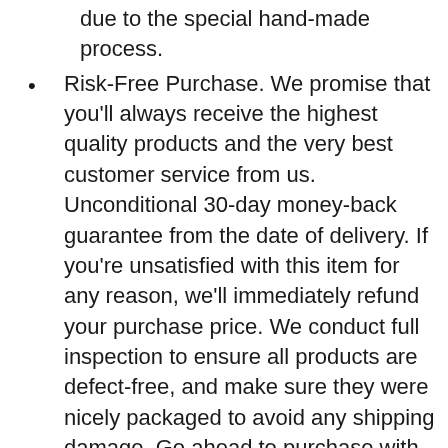due to the special hand-made process.
Risk-Free Purchase. We promise that you'll always receive the highest quality products and the very best customer service from us. Unconditional 30-day money-back guarantee from the date of delivery. If you're unsatisfied with this item for any reason, we'll immediately refund your purchase price. We conduct full inspection to ensure all products are defect-free, and make sure they were nicely packaged to avoid any shipping damage. Go ahead to purchase with confidence.
Additional Info :